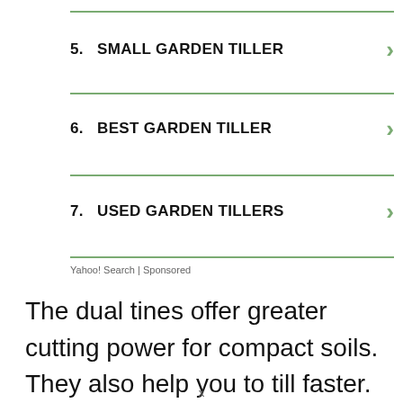5.  SMALL GARDEN TILLER
6.  BEST GARDEN TILLER
7.  USED GARDEN TILLERS
Yahoo! Search | Sponsored
The dual tines offer greater cutting power for compact soils. They also help you to till faster.